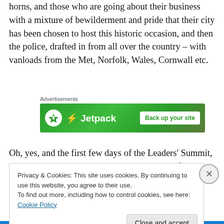horns, and those who are going about their business with a mixture of bewilderment and pride that their city has been chosen to host this historic occasion, and then the police, drafted in from all over the country – with vanloads from the Met, Norfolk, Wales, Cornwall etc.
[Figure (screenshot): Jetpack advertisement banner with green background showing Jetpack logo and 'Back up your site' call-to-action button]
Oh, yes, and the first few days of the Leaders' Summit, those other shadowy presences at the centre of it all
Privacy & Cookies: This site uses cookies. By continuing to use this website, you agree to their use.
To find out more, including how to control cookies, see here: Cookie Policy
Close and accept